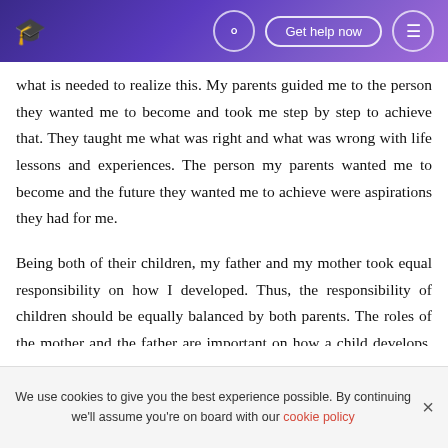Navigation bar with logo, search, Get help now button, and menu icon
what is needed to realize this. My parents guided me to the person they wanted me to become and took me step by step to achieve that. They taught me what was right and what was wrong with life lessons and experiences. The person my parents wanted me to become and the future they wanted me to achieve were aspirations they had for me.
Being both of their children, my father and my mother took equal responsibility on how I developed. Thus, the responsibility of children should be equally balanced by both parents. The roles of the mother and the father are important on how a child develops. There is no support
We use cookies to give you the best experience possible. By continuing we'll assume you're on board with our cookie policy